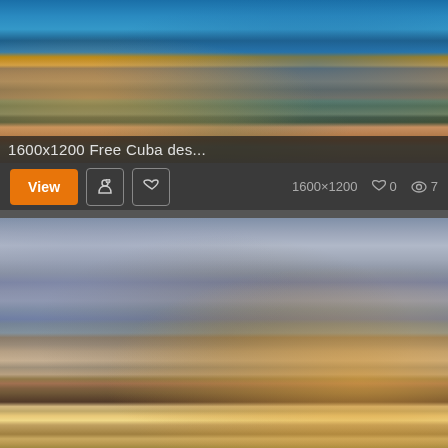[Figure (photo): Aerial view of Havana Cuba cityscape with historic hotels including Hotel Nacional, colorful rooftops, blue water harbor in background]
1600x1200 Free Cuba des...
View  [pinterest icon]  [facebook icon]  1600×1200  ♡ 0  👁 7
[Figure (photo): Beach scene at dusk/dawn with rocky shoreline, beach chairs and umbrellas, palm trees on right, mountains in background under cloudy sky]